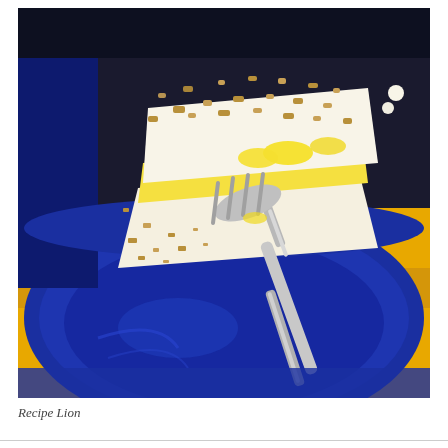[Figure (photo): Close-up photograph of a slice of lemon meringue or cream pie with a crumbly crust topping, served on a cobalt blue plate with a silver fork, placed on a yellow surface/tablecloth.]
Recipe Lion